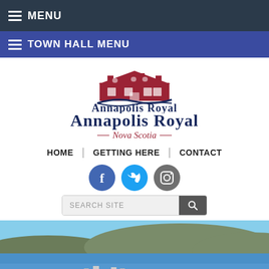MENU
TOWN HALL MENU
[Figure (logo): Annapolis Royal Nova Scotia town logo with building illustration and wave swoosh]
HOME | GETTING HERE | CONTACT
[Figure (infographic): Social media icons: Facebook, Twitter, Instagram]
[Figure (screenshot): Search site input field with search button]
[Figure (photo): Aerial photo of Annapolis Royal showing a river, town, and surrounding hills]
Town Hall
Council